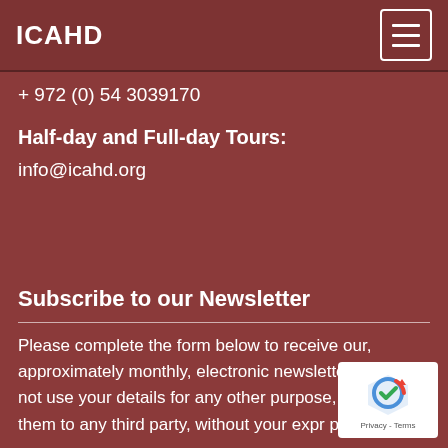ICAHD
+ 972 (0) 54 3039170
Half-day and Full-day Tours: info@icahd.org
Subscribe to our Newsletter
Please complete the form below to receive our, approximately monthly, electronic newsletter. We will not use your details for any other purpose, nor forward them to any third party, without your expr permission.